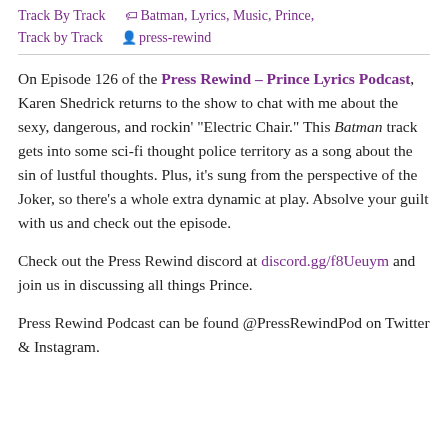Track By Track   🏷 Batman, Lyrics, Music, Prince, Track by Track   👤 press-rewind
On Episode 126 of the Press Rewind – Prince Lyrics Podcast, Karen Shedrick returns to the show to chat with me about the sexy, dangerous, and rockin' "Electric Chair." This Batman track gets into some sci-fi thought police territory as a song about the sin of lustful thoughts. Plus, it's sung from the perspective of the Joker, so there's a whole extra dynamic at play. Absolve your guilt with us and check out the episode.
Check out the Press Rewind discord at discord.gg/f8Ueuym and join us in discussing all things Prince.
Press Rewind Podcast can be found @PressRewindPod on Twitter & Instagram.